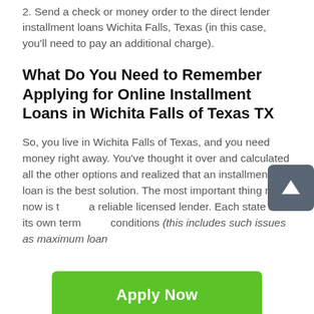2. Send a check or money order to the direct lender installment loans Wichita Falls, Texas (in this case, you'll need to pay an additional charge).
What Do You Need to Remember Applying for Online Installment Loans in Wichita Falls of Texas TX
So, you live in Wichita Falls of Texas, and you need money right away. You've thought it over and calculated all the other options and realized that an installment loan is the best solution. The most important thing right now is t… a reliable licensed lender. Each state has its own term… conditions (this includes such issues as maximum loan
[Figure (other): Green 'Apply Now' button]
Applying does NOT affect your credit score!
No credit check to apply.